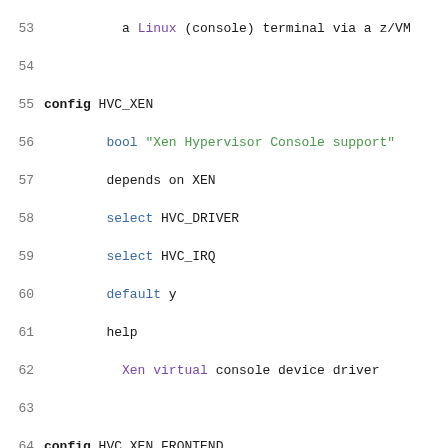[Figure (screenshot): Source code listing (Kconfig file) showing Linux kernel configuration entries for HVC_XEN, HVC_XEN_FRONTEND, and HVC_UDBG console drivers, with line numbers 53-74, syntax highlighted in green (strings), blue (keywords), and purple (xen references).]